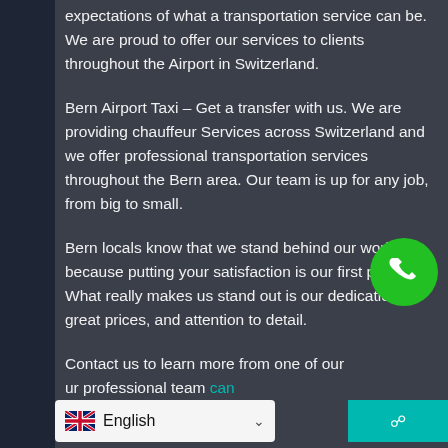expectations of what a transportation service can be. We are proud to offer our services to clients throughout the Airport in Switzerland.
Bern Airport Taxi – Get a transfer with us. We are providing chauffeur Services across Switzerland and we offer professional transportation services throughout the Bern area. Our team is up for any job, from big to small.
Bern locals know that we stand behind our work because putting your satisfaction is our first priority. What really makes us stand out is our dedication, great prices, and attention to detail.
Contact us to learn more from one of our ... ur professional team can